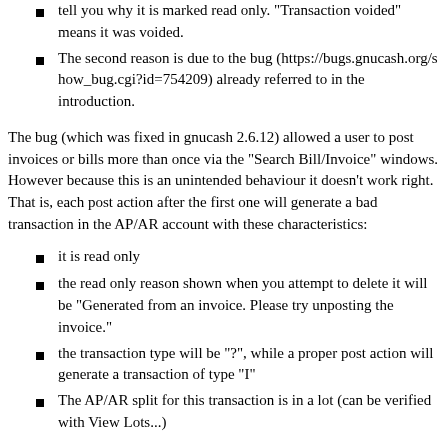tell you why it is marked read only. "Transaction voided" means it was voided.
The second reason is due to the bug (https://bugs.gnucash.org/show_bug.cgi?id=754209) already referred to in the introduction.
The bug (which was fixed in gnucash 2.6.12) allowed a user to post invoices or bills more than once via the "Search Bill/Invoice" windows. However because this is an unintended behaviour it doesn't work right. That is, each post action after the first one will generate a bad transaction in the AP/AR account with these characteristics:
it is read only
the read only reason shown when you attempt to delete it will be "Generated from an invoice. Please try unposting the invoice."
the transaction type will be "?", while a proper post action will generate a transaction of type "I"
The AP/AR split for this transaction is in a lot (can be verified with View Lots...)
Ideally these transactions should just be deleted again, because they will throw off the balance. Given they are read-only the user can't do that unfortunately and some users have worked around this by adding a balance correcting transaction manually instead.